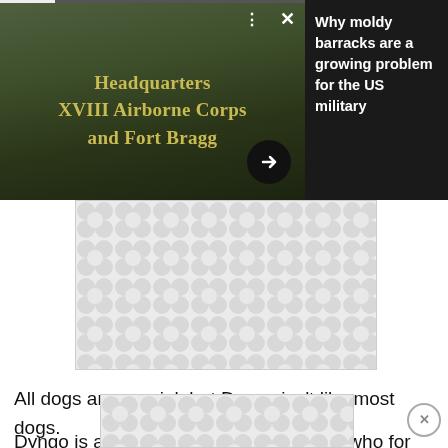[Figure (photo): Dark overlay card showing a sign reading 'Headquarters XVIII Airborne Corps and Fort Bragg' with two people in the foreground, overlaid on a dark background. Contains dots menu, close X button, progress bar at top, and right arrow button. Beside it is a dark panel with headline text.]
Why moldy barracks are a growing problem for the US military
[Figure (other): Advertisement placeholder with decorative dot/circle pattern in grey and white]
All dogs are special, but Dyngo isn't like most dogs.
Dyngo is a retired Military Working Dog who for ten years worked for the military for the...
[Figure (other): Advertisement placeholder strip at bottom with decorative dot/circle pattern]